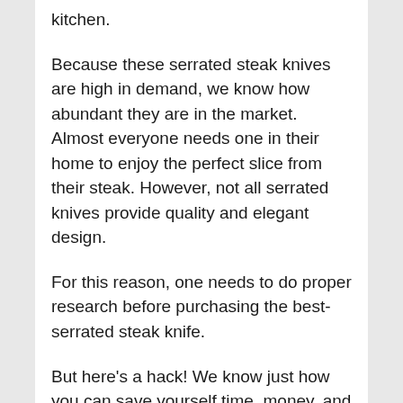kitchen.
Because these serrated steak knives are high in demand, we know how abundant they are in the market. Almost everyone needs one in their home to enjoy the perfect slice from their steak. However, not all serrated knives provide quality and elegant design.
For this reason, one needs to do proper research before purchasing the best-serrated steak knife.
But here’s a hack! We know just how you can save yourself time, money, and energy by purchasing the right size with expert help. You may also like our guide of best boning